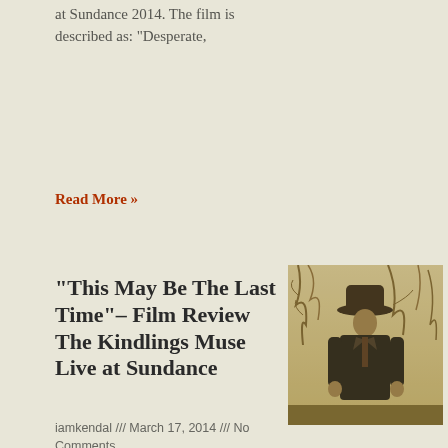at Sundance 2014. The film is described as: "Desperate,
Read More »
“This May Be The Last Time”– Film Review The Kindlings Muse Live at Sundance
[Figure (photo): Sepia-toned vintage photograph of a man in a suit and wide-brimmed hat standing outdoors with bare trees in the background]
iamkendal /// March 17, 2014 /// No Comments